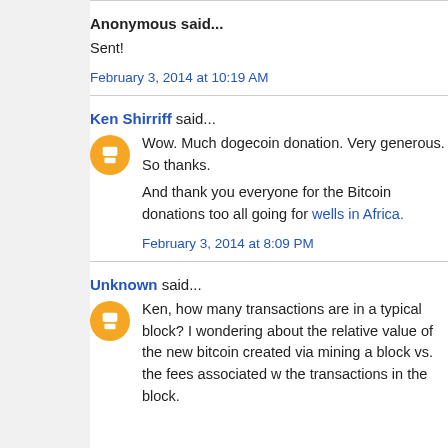Anonymous said...
Sent!
February 3, 2014 at 10:19 AM
Ken Shirriff said...
Wow. Much dogecoin donation. Very generous. So thanks.
And thank you everyone for the Bitcoin donations too all going for wells in Africa.
February 3, 2014 at 8:09 PM
Unknown said...
Ken, how many transactions are in a typical block? I wondering about the relative value of the new bitcoin created via mining a block vs. the fees associated w the transactions in the block.